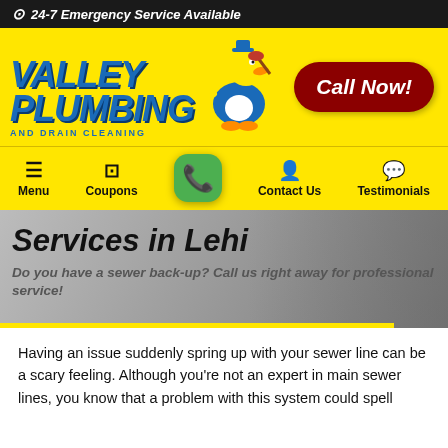24-7 Emergency Service Available
[Figure (logo): Valley Plumbing and Drain Cleaning logo with blue text and cartoon duck mascot on yellow background, with a dark red Call Now! button]
Services in Lehi
Do you have a sewer back-up? Call us right away for professional service!
Having an issue suddenly spring up with your sewer line can be a scary feeling. Although you’re not an expert in main sewer lines, you know that a problem with this system could spell disaster. This line serves the vital function of transporting waste from your plumbing